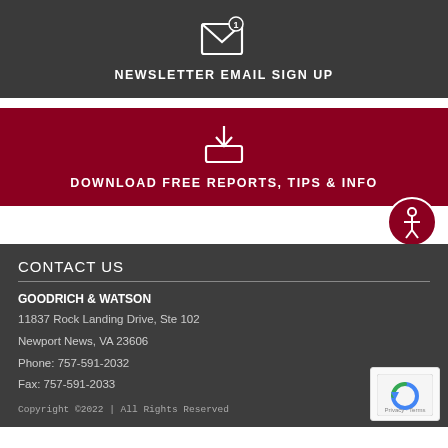[Figure (infographic): Dark grey banner with white envelope icon with notification badge and text NEWSLETTER EMAIL SIGN UP]
[Figure (infographic): Dark red/crimson banner with white download-into-inbox icon and text DOWNLOAD FREE REPORTS, TIPS & INFO]
[Figure (infographic): Accessibility icon button (person in circle) in dark red, positioned at right]
CONTACT US
GOODRICH & WATSON
11837 Rock Landing Drive, Ste 102
Newport News, VA 23606
Phone: 757-591-2032
Fax: 757-591-2033
[Figure (logo): Google reCAPTCHA badge with Privacy and Terms links]
Copyright ©2022 | All Rights Reserved